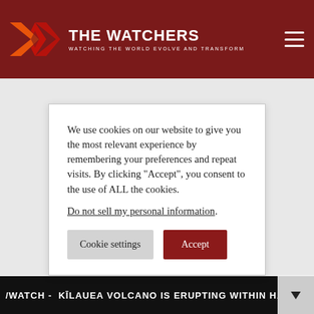THE WATCHERS — WATCHING THE WORLD EVOLVE AND TRANSFORM
We use cookies on our website to give you the most relevant experience by remembering your preferences and repeat visits. By clicking “Accept”, you consent to the use of ALL the cookies.
Do not sell my personal information.
Cookie settings | Accept
/WATCH - KĪLAUEA VOLCANO IS ERUPTING WITHIN HALEMAʻU